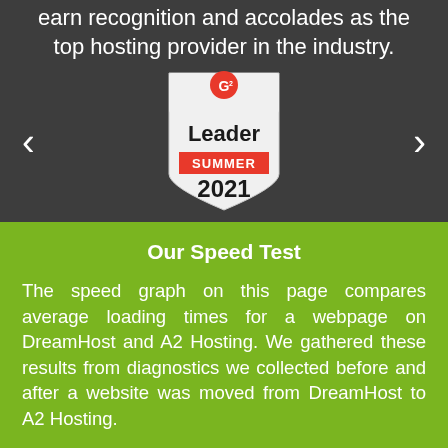earn recognition and accolades as the top hosting provider in the industry.
[Figure (illustration): G2 Leader Summer 2021 badge/shield award in a carousel with left and right navigation arrows]
Our Speed Test
The speed graph on this page compares average loading times for a webpage on DreamHost and A2 Hosting. We gathered these results from diagnostics we collected before and after a website was moved from DreamHost to A2 Hosting.